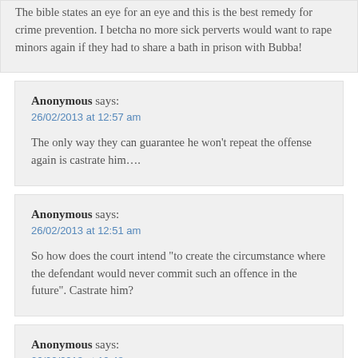The bible states an eye for an eye and this is the best remedy for crime prevention. I betcha no more sick perverts would want to rape minors again if they had to share a bath in prison with Bubba!
Anonymous says:
26/02/2013 at 12:57 am
The only way they can guarantee he won't repeat the offense again is castrate him….
Anonymous says:
26/02/2013 at 12:51 am
So how does the court intend "to create the circumstance where the defendant would never commit such an offence in the future". Castrate him?
Anonymous says:
26/02/2013 at 12:48 am